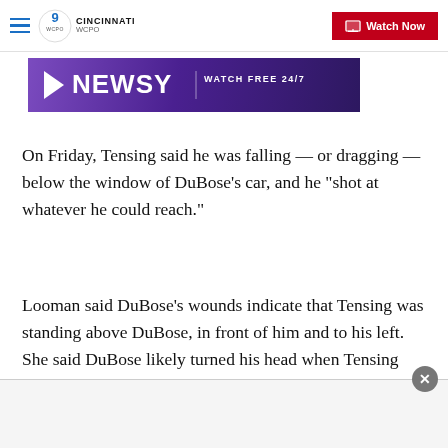WCPO 9 Cincinnati — Watch Now
[Figure (other): Newsy advertisement banner — purple gradient background with Newsy logo and text 'WATCH FREE 24/7']
On Friday, Tensing said he was falling — or dragging — below the window of DuBose's car, and he "shot at whatever he could reach."
Looman said DuBose's wounds indicate that Tensing was standing above DuBose, in front of him and to his left. She said DuBose likely turned his head when Tensing fired.
[Figure (other): Bottom advertisement overlay area with close button (x)]